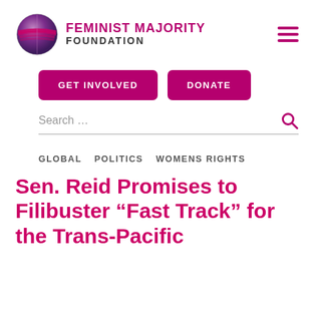FEMINIST MAJORITY FOUNDATION
GET INVOLVED
DONATE
Search …
GLOBAL   POLITICS   WOMENS RIGHTS
Sen. Reid Promises to Filibuster "Fast Track" for the Trans-Pacific